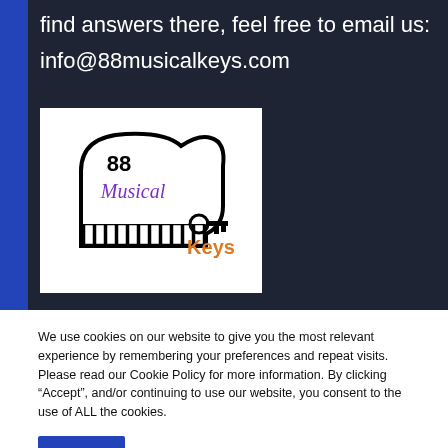find answers there, feel free to email us:
info@88musicalkeys.com
[Figure (logo): 88 Musical Keys logo: a grand piano outline with '88' inside, 'Musical' in purple cursive, 'Keys' in orange, and a piano key graphic with a key icon]
We use cookies on our website to give you the most relevant experience by remembering your preferences and repeat visits. Please read our Cookie Policy for more information. By clicking “Accept”, and/or continuing to use our website, you consent to the use of ALL the cookies.
Accept
Read More
Cookie settings